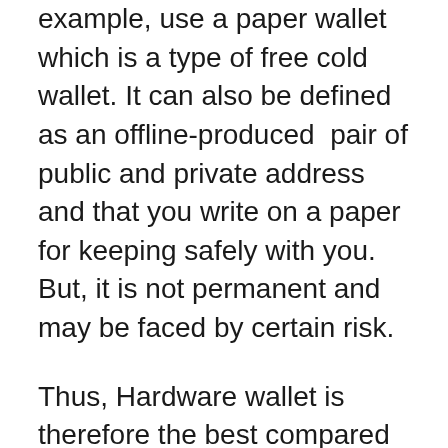example, use a paper wallet which is a type of free cold wallet. It can also be defined as an offline-produced  pair of public and private address and that you write on a paper for keeping safely with you. But, it is not permanent and may be faced by certain risk.
Thus, Hardware wallet is therefore the best compared to cold wallets. Since they are usually USB-enabled devices that can hold the key information of your wallet in the safest manner. Also they are designed using military-level security and their firmware's are continuously upgraded by their manufacturers and this makes them extra safe to use.  For example, Ledger Nano S and Ledger Nano X and are most common